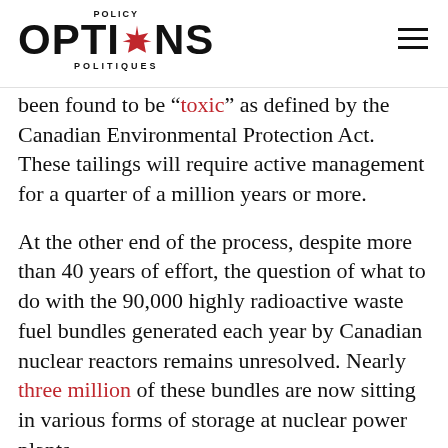POLICY OPTIONS POLITIQUES
been found to be “toxic” as defined by the Canadian Environmental Protection Act. These tailings will require active management for a quarter of a million years or more.
At the other end of the process, despite more than 40 years of effort, the question of what to do with the 90,000 highly radioactive waste fuel bundles generated each year by Canadian nuclear reactors remains unresolved. Nearly three million of these bundles are now sitting in various forms of storage at nuclear power plants.